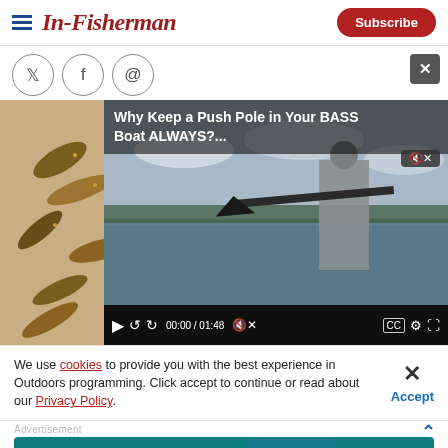In-Fisherman — Subscribe
[Figure (screenshot): In-Fisherman website header with hamburger menu, brand logo, and Subscribe button]
[Figure (screenshot): Social sharing icons: Twitter, Facebook, Email]
[Figure (photo): Close-up photo of fishing lures/soft plastic baits on a white surface]
[Figure (screenshot): Embedded video player: 'Why Keep a Push Pole in Your BASS Boat ALWAYS?' with controls showing 00:00 / 01:48]
We use cookies to provide you with the best experience in Outdoors programming. Click accept to continue or read about our Privacy Policy.
Advertisement
[Figure (screenshot): Advertisement banner: 'JET SKI HEROES SAVE FAMILY FROM EPIC SURF BEATDOWN' with LEARN MORE button on teal background]